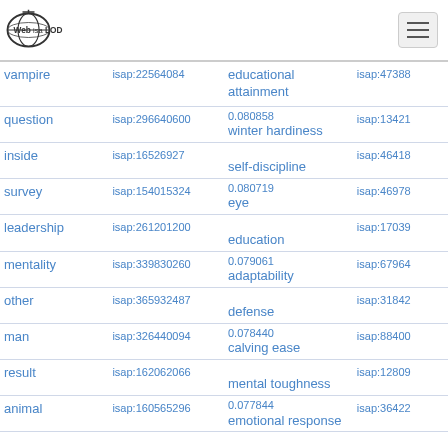Web isa LOD
| term | isap (left) | concept | score | isap (right) |
| --- | --- | --- | --- | --- |
| vampire | isap:22564084 | educational attainment |  | isap:47388 |
| question | isap:296640600 | winter hardiness | 0.080858 | isap:13421 |
| inside | isap:16526927 | self-discipline |  | isap:46418 |
| survey | isap:154015324 | eye | 0.080719 | isap:46978 |
| leadership | isap:261201200 | education |  | isap:17039 |
| mentality | isap:339830260 | adaptability | 0.079061 | isap:67964 |
| other | isap:365932487 | defense |  | isap:31842 |
| man | isap:326440094 | calving ease | 0.078440 | isap:88400 |
| result | isap:162062066 | mental toughness |  | isap:12809 |
| animal | isap:160565296 | emotional response | 0.077844 | isap:36422 |